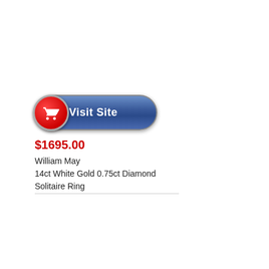[Figure (other): A 'Visit Site' button with a red shopping cart circle on the left and blue pill-shaped button with white bold text 'Visit Site']
$1695.00
William May
14ct White Gold 0.75ct Diamond Solitaire Ring